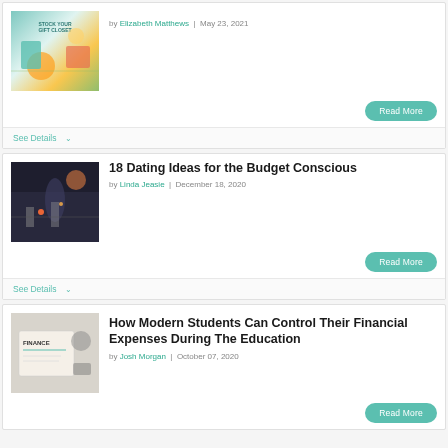[Figure (photo): Stock Your Gift Closet blog post thumbnail with colorful illustrated image]
by Elizabeth Matthews | May 23, 2021
Read More
See Details
18 Dating Ideas for the Budget Conscious
[Figure (photo): Couple holding hands at night city street scene]
by Linda Jeasie | December 18, 2020
Read More
See Details
How Modern Students Can Control Their Financial Expenses During The Education
[Figure (photo): Finance notes and laptop on desk]
by Josh Morgan | October 07, 2020
Read More